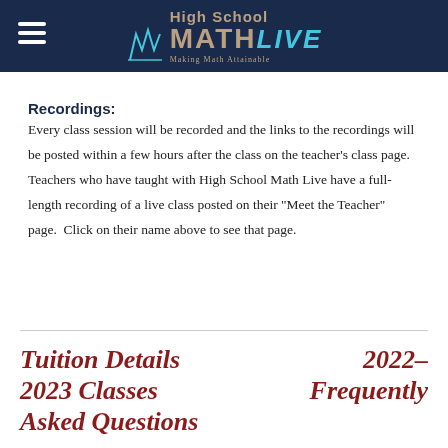High School MATH LIVE — Making Math Attainable
Recordings:
Every class session will be recorded and the links to the recordings will be posted within a few hours after the class on the teacher's class page.  Teachers who have taught with High School Math Live have a full-length recording of a live class posted on their "Meet the Teacher" page.  Click on their name above to see that page.
Tuition Details 2023 Classes Asked Questions
2022– Frequently